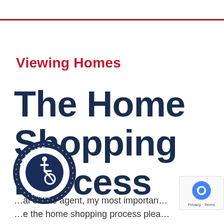Viewing Homes
The Home Shopping Process
…al estate agent, my most important …e the home shopping process plea… and rewarding for you.
[Figure (logo): ADA Site Compliance badge — circular seal with wheelchair accessibility icon, stars, and text reading ADA SITE COMPLIANCE]
[Figure (logo): Google reCAPTCHA widget showing reCAPTCHA logo and Privacy · Terms links]